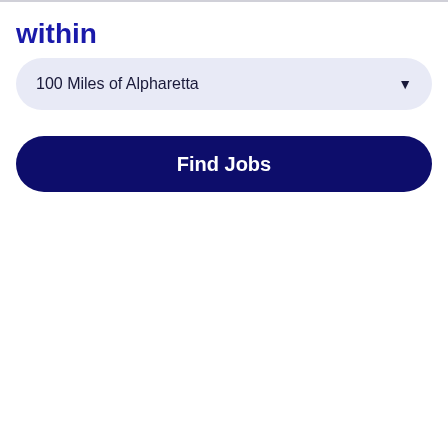within
100 Miles of Alpharetta
Find Jobs